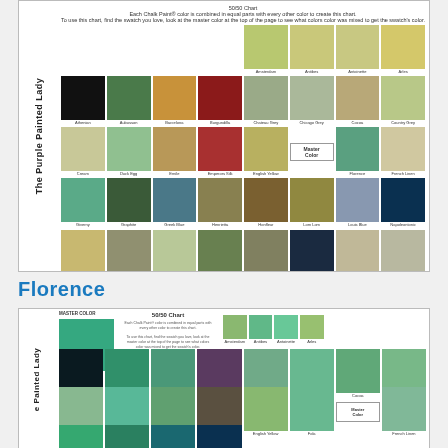[Figure (infographic): 50/50 color mixing chart labeled 'The Purple Painted Lady' showing a grid of color swatches with names including Athenian, Aubusson, Barcelona, Burgundilla, Chateau Grey, Chicago Grey, Cocoa, Country Grey, Cream, Duck Egg, Emile, Emperors Silk, English Yellow, Fola, Florence, French Linen, Giverny, Graphite, Greek Blue, Henrietta, Honfleur, Lom Lom, Louis Blue, Napolontonic, Old Ochre, Old Violet, Old White, Olive, Original, Oxford Navy, Paloma, Paris Grey, Primer Red, Provence, Pure White, Rustical, Scandinavian, Svenska, Tilton, Versailles. Master Color box shown in place of Florence swatch.]
Florence
[Figure (infographic): 50/50 color mixing chart for Florence (master color shown as teal/green swatch). Shows partial grid rows: Amsterdam, Antibes, Antoinette, Arles; Athenian, Aubusson, Barcelona, Burgundy, Chateau Grey, Chicago Grey, Cocoa, Country Grey; Cream, Duck Egg, Emile, Emperors Silk, English Yellow, Fola, Florence (Master Color box), French Linen; and partial additional row.]